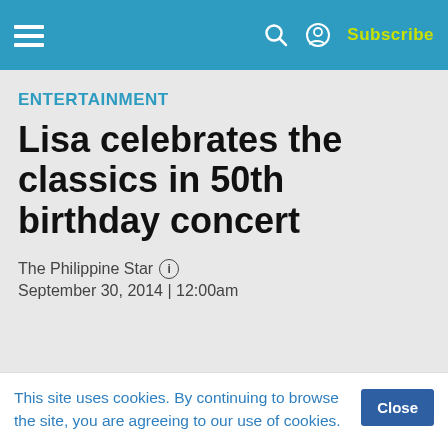Subscribe
ENTERTAINMENT
Lisa celebrates the classics in 50th birthday concert
The Philippine Star
September 30, 2014 | 12:00am
MANILA, Philippines. With a grateful heart, prime
This site uses cookies. By continuing to browse the site, you are agreeing to our use of cookies.